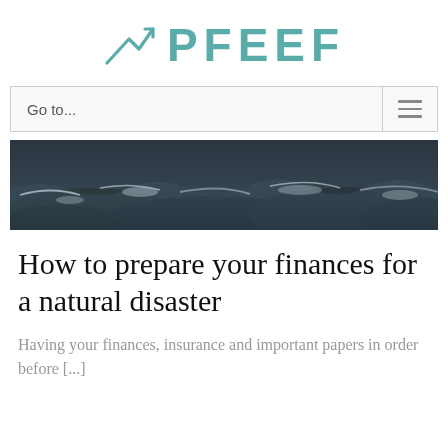PFEEF
Go to...
[Figure (photo): Rocky coastline with crashing ocean waves, dark moody tones]
How to prepare your finances for a natural disaster
Having your finances, insurance and important papers in order before [...]